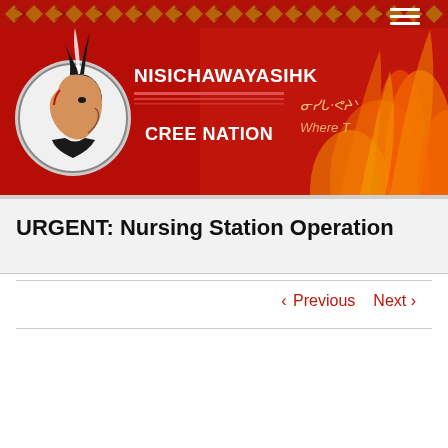[Figure (logo): Nisichawayasihk Cree Nation website header banner with red background, Native chief logo in circular emblem, organization name in white bold text, decorative diamond pattern strip at top, flames/fire imagery on right side, syllabics text on right]
URGENT: Nursing Station Operation
< Previous   Next >